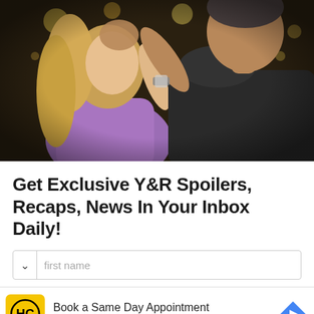[Figure (photo): A couple embracing face-to-face. A blonde woman in a purple top and an older man in a black t-shirt with a watch on his wrist. Bokeh lights visible in the background.]
Get Exclusive Y&R Spoilers, Recaps, News In Your Inbox Daily!
first name (input field placeholder)
[Figure (logo): Hair Cuttery advertisement. HC logo on yellow background. Text: Book a Same Day Appointment, Hair Cuttery. Blue diamond arrow icon on right.]